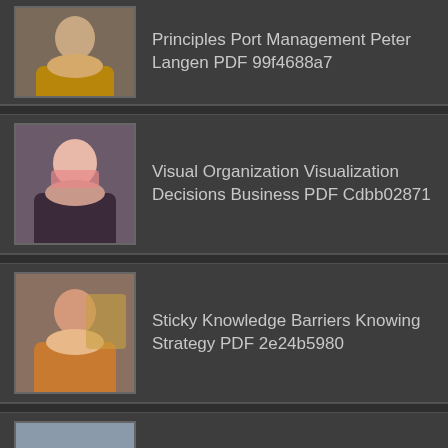Principles Port Management Peter Langen PDF 99f4688a7
Visual Organization Visualization Decisions Business PDF Cdbb02871
Sticky Knowledge Barriers Knowing Strategy PDF 2e24b5980
Information Communications Technologies School Mathematics PDF 2664f026d
Mindful Business Leadership Robbie Steinhouse PDF 86da15878